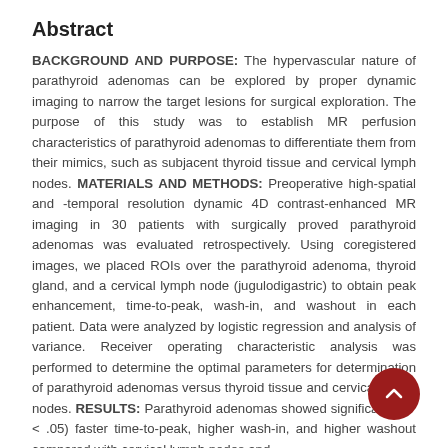Abstract
BACKGROUND AND PURPOSE: The hypervascular nature of parathyroid adenomas can be explored by proper dynamic imaging to narrow the target lesions for surgical exploration. The purpose of this study was to establish MR perfusion characteristics of parathyroid adenomas to differentiate them from their mimics, such as subjacent thyroid tissue and cervical lymph nodes. MATERIALS AND METHODS: Preoperative high-spatial and -temporal resolution dynamic 4D contrast-enhanced MR imaging in 30 patients with surgically proved parathyroid adenomas was evaluated retrospectively. Using coregistered images, we placed ROIs over the parathyroid adenoma, thyroid gland, and a cervical lymph node (jugulodigastric) to obtain peak enhancement, time-to-peak, wash-in, and washout in each patient. Data were analyzed by logistic regression and analysis of variance. Receiver operating characteristic analysis was performed to determine the optimal parameters for determination of parathyroid adenomas versus thyroid tissue and cervical lymph nodes. RESULTS: Parathyroid adenomas showed significantly (P < .05) faster time-to-peak, higher wash-in, and higher washout compared with cervical lymph nodes and